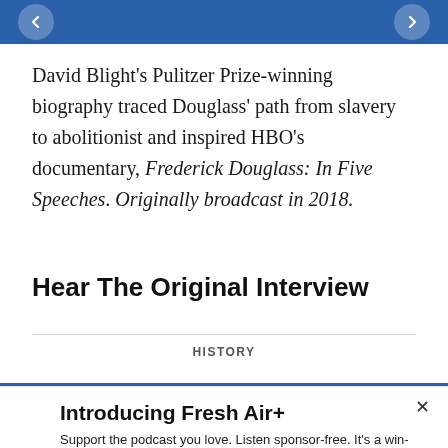[Figure (other): Blue navigation bar with left and right arrow buttons]
David Blight's Pulitzer Prize-winning biography traced Douglass' path from slavery to abolitionist and inspired HBO's documentary, Frederick Douglass: In Five Speeches. Originally broadcast in 2018.
Hear The Original Interview
HISTORY
Introducing Fresh Air+
Support the podcast you love. Listen sponsor-free. It's a win-win in the world of Fresh Air+. Sign up today for just $2.99 per month.
SUBSCRIBE